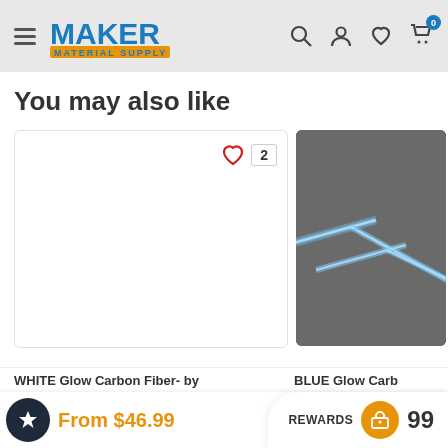Maker Material Supply — navigation header
You may also like
[Figure (screenshot): Product card for WHITE Glow Carbon Fiber — white product image area with heart wishlist icon and count badge showing 2]
[Figure (photo): Partial product card for BLUE Glow Carbon Fiber — dark gray background with glowing blue fiber strands visible]
From $46.99
WHITE Glow Carbon Fiber- by
BLUE Glow Carb
REWARDS 99